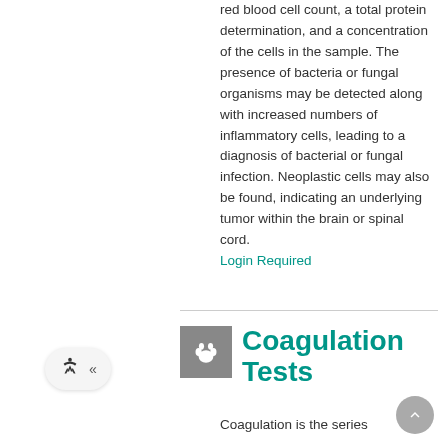red blood cell count, a total protein determination, and a concentration of the cells in the sample. The presence of bacteria or fungal organisms may be detected along with increased numbers of inflammatory cells, leading to a diagnosis of bacterial or fungal infection. Neoplastic cells may also be found, indicating an underlying tumor within the brain or spinal cord.
Login Required
[Figure (illustration): Gray square icon with white paw print symbol representing veterinary or animal health section]
Coagulation Tests
Coagulation is the series